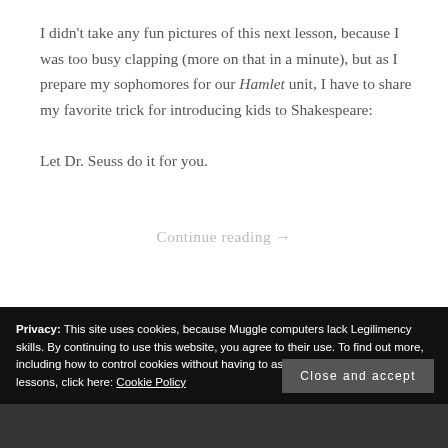I didn't take any fun pictures of this next lesson, because I was too busy clapping (more on that in a minute), but as I prepare my sophomores for our Hamlet unit, I have to share my favorite trick for introducing kids to Shakespeare:

Let Dr. Seuss do it for you.
Continue reading →
Privacy: This site uses cookies, because Muggle computers lack Legilimency skills. By continuing to use this website, you agree to their use. To find out more, including how to control cookies without having to ask Snape for Occlumency lessons, click here: Cookie Policy
Close and accept